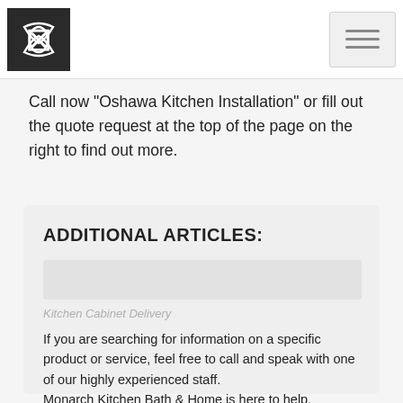[Logo: Monarch Kitchen Bath & Home] [Hamburger menu icon]
Call now "Oshawa Kitchen Installation" or fill out the quote request at the top of the page on the right to find out more.
ADDITIONAL ARTICLES:
If you are searching for information on a specific product or service, feel free to call and speak with one of our highly experienced staff.
Monarch Kitchen Bath & Home is here to help.